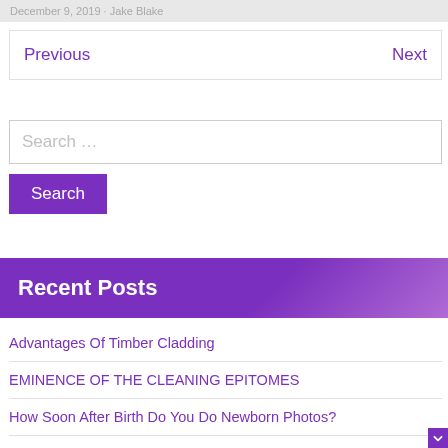December 9, 2019 · Jake Blake
Previous   Next
Search ...
Search
Recent Posts
Advantages Of Timber Cladding
EMINENCE OF THE CLEANING EPITOMES
How Soon After Birth Do You Do Newborn Photos?
Picking The Right Childcare Or Early Learning Centre For